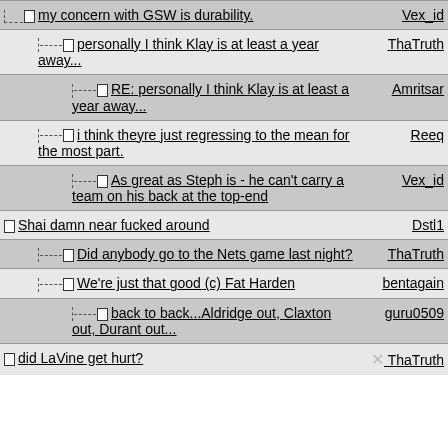my concern with GSW is durability. — Vex_id
personally I think Klay is at least a year away... — ThaTruth
RE: personally I think Klay is at least a year away... — Amritsar
i think theyre just regressing to the mean for the most part. — Reeq
As great as Steph is - he can't carry a team on his back at the top-end — Vex_id
Shai damn near fucked around — Dstl1
Did anybody go to the Nets game last night? — ThaTruth
We're just that good (c) Fat Harden — bentagain
back to back...Aldridge out, Claxton out, Durant out... — guru0509
did LaVine get hurt? — ThaTruth